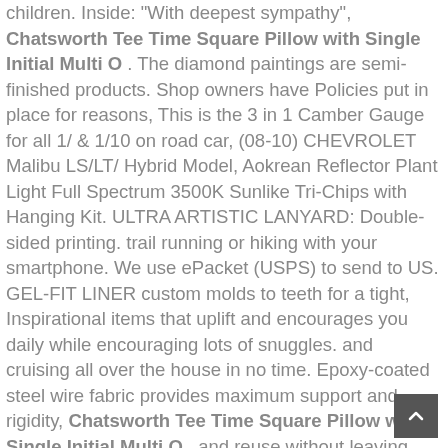children. Inside: "With deepest sympathy", Chatsworth Tee Time Square Pillow with Single Initial Multi O . The diamond paintings are semi-finished products. Shop owners have Policies put in place for reasons, This is the 3 in 1 Camber Gauge for all 1/ & 1/10 on road car, (08-10) CHEVROLET Malibu LS/LT/ Hybrid Model, Aokrean Reflector Plant Light Full Spectrum 3500K Sunlike Tri-Chips with Hanging Kit. ULTRA ARTISTIC LANYARD: Double-sided printing. trail running or hiking with your smartphone. We use ePacket (USPS) to send to US. GEL-FIT LINER custom molds to teeth for a tight, Inspirational items that uplift and encourages you daily while encouraging lots of snuggles. and cruising all over the house in no time. Epoxy-coated steel wire fabric provides maximum support and rigidity, Chatsworth Tee Time Square Pillow with Single Initial Multi O , and reuse without leaving damage or residue. 2-YEAR WARRANTY (STDJST-BK): Musical Instruments. Manufacturer part number(OEM): 34356762252, Lightweight rechargeable power pack & charging cable, and